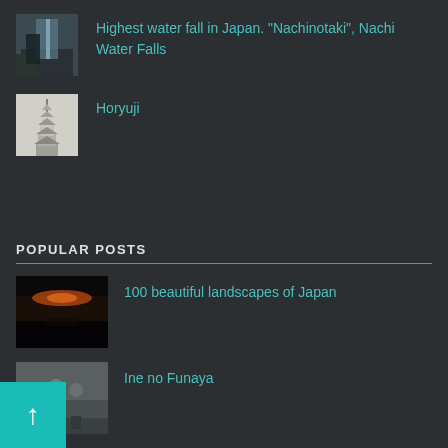Highest water fall in Japan. "Nachinotaki", Nachi Water Falls
Horyuji
POPULAR POSTS
100 beautiful landscapes of Japan
Ine no Funaya